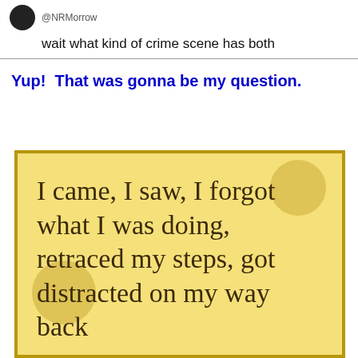@NRMorrow
wait what kind of crime scene has both
Yup!  That was gonna be my question.
[Figure (illustration): Yellow sticky-note style meme with decorative dots. Text reads: I came, I saw, I forgot what I was doing, retraced my steps, got distracted on my way back]